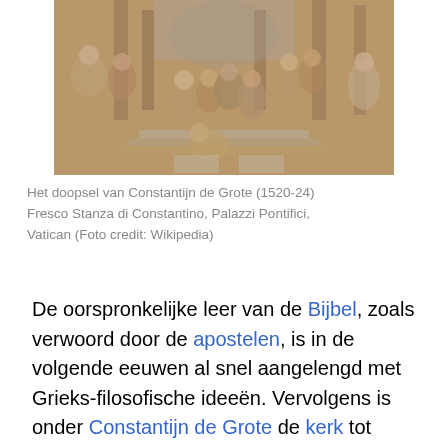[Figure (illustration): Fresco painting 'Het doopsel van Constantijn de Grote' (1520-24) showing a baptism scene with many figures in classical architectural setting, from Stanza di Constantino, Palazzi Pontifici, Vatican.]
Het doopsel van Constantijn de Grote (1520-24) Fresco Stanza di Constantino, Palazzi Pontifici, Vatican (Foto credit: Wikipedia)
De oorspronkelijke leer van de Bijbel, zoals verwoord door de apostelen, is in de volgende eeuwen al snel aangelengd met Grieks-filosofische ideeën. Vervolgens is onder Constantijn de Grote de kerk tot staatskerk geworden, waarbij ook de kerkstructuur werd aangepast aan wat in het heidendom gebruikelijk was. En tenslotte is